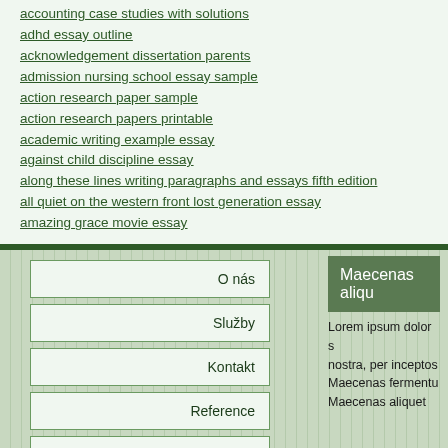accounting case studies with solutions
adhd essay outline
acknowledgement dissertation parents
admission nursing school essay sample
action research paper sample
action research papers printable
academic writing example essay
against child discipline essay
along these lines writing paragraphs and essays fifth edition
all quiet on the western front lost generation essay
amazing grace movie essay
O nás
Služby
Kontakt
Reference
online pujcka pred výplatou letovice
Maecenas aliqu
Lorem ipsum dolor s nostra, per inceptos Maecenas fermentu Maecenas aliquet